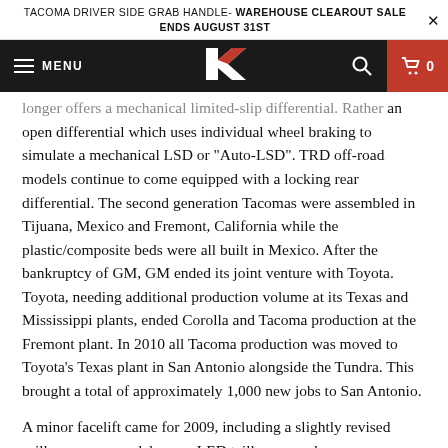TACOMA DRIVER SIDE GRAB HANDLE- WAREHOUSE CLEAROUT SALE ENDS AUGUST 31ST
[Figure (screenshot): Website navigation bar with hamburger menu (MENU), stylized K logo, search icon, and red cart button showing 0 items]
longer offers a mechanical limited-slip differential. Rather an open differential which uses individual wheel braking to simulate a mechanical LSD or "Auto-LSD". TRD off-road models continue to come equipped with a locking rear differential. The second generation Tacomas were assembled in Tijuana, Mexico and Fremont, California while the plastic/composite beds were all built in Mexico. After the bankruptcy of GM, GM ended its joint venture with Toyota. Toyota, needing additional production volume at its Texas and Mississippi plants, ended Corolla and Tacoma production at the Fremont plant. In 2010 all Tacoma production was moved to Toyota's Texas plant in San Antonio alongside the Tundra. This brought a total of approximately 1,000 new jobs to San Antonio.
A minor facelift came for 2009, including a slightly revised grille on some models, new LED taillamps, and on